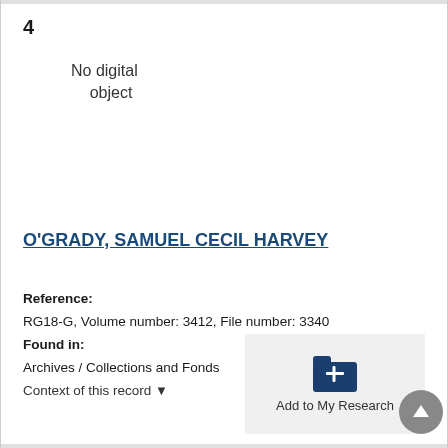4
No digital object
O'GRADY, SAMUEL CECIL HARVEY
Reference: RG18-G, Volume number: 3412, File number: 3340
Found in: Archives / Collections and Fonds
Context of this record ▼
[Figure (screenshot): Add to My Research button with folder-plus icon in a grey box, and a grey scroll-to-top circular button]